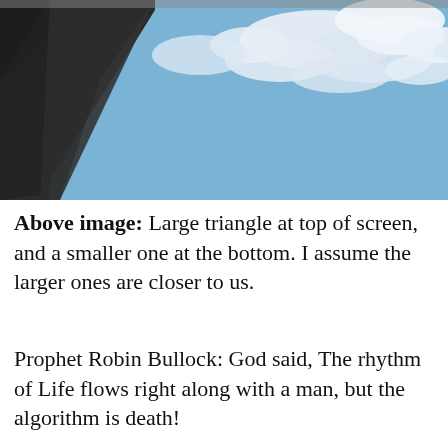[Figure (photo): Outdoor photo showing a dark triangular structure in the upper left corner against a blue sky with white clouds.]
Above image: Large triangle at top of screen, and a smaller one at the bottom. I assume the larger ones are closer to us.
Prophet Robin Bullock: God said, The rhythm of Life flows right along with a man, but the algorithm is death!
What are the triangles in the clouds in the images above? Well, God already told us they are spying on us. See my blog titled,